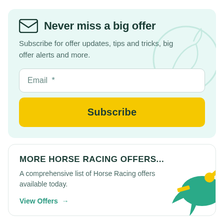Never miss a big offer
Subscribe for offer updates, tips and tricks, big offer alerts and more.
Email  *
Subscribe
MORE HORSE RACING OFFERS...
A comprehensive list of Horse Racing offers available today.
View Offers →